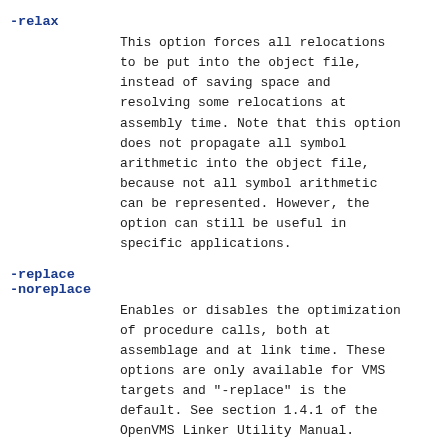-relax
This option forces all relocations to be put into the object file, instead of saving space and resolving some relocations at assembly time. Note that this option does not propagate all symbol arithmetic into the object file, because not all symbol arithmetic can be represented. However, the option can still be useful in specific applications.
-replace
-noreplace
Enables or disables the optimization of procedure calls, both at assemblage and at link time. These options are only available for VMS targets and "-replace" is the default. See section 1.4.1 of the OpenVMS Linker Utility Manual.
-g